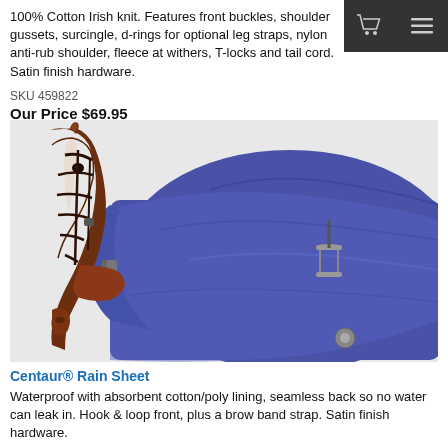100% Cotton Irish knit. Features front buckles, shoulder gussets, surcingle, d-rings for optional leg straps, nylon anti-rub shoulder, fleece at withers, T-locks and tail cord. Satin finish hardware.
SKU 459822
Our Price $69.95
[Figure (photo): Horse wearing a blue/purple rain sheet blanket, shown from the neck/shoulder area, with the horse's head and face visible on the left side. The horse is brown with a white blaze.]
Centaur® Rain Sheet
Waterproof with absorbent cotton/poly lining, seamless back so no water can leak in. Hook & loop front, plus a brow band strap. Satin finish hardware.